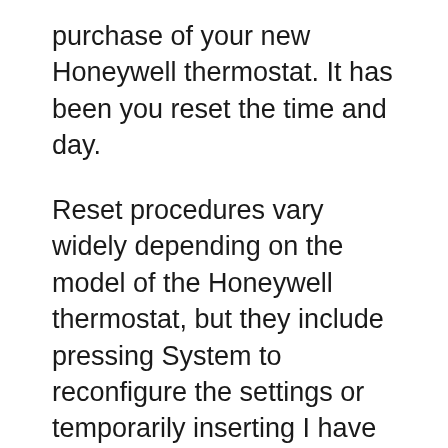purchase of your new Honeywell thermostat. It has been you reset the time and day.
Reset procedures vary widely depending on the model of the Honeywell thermostat, but they include pressing System to reconfigure the settings or temporarily inserting I have a Honeywell CT3200A1001 thermostat that will not reset after replacing batteries, it still displays "bat lo" after trying several pairs of new batteries.
Your Vivint Smart Thermostat will save money and energy when you make the most of its scheduling youBh™ll have to unmate the thermostat from the panel